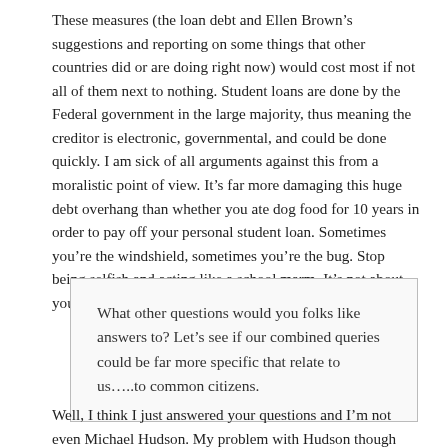These measures (the loan debt and Ellen Brown's suggestions and reporting on some things that other countries did or are doing right now) would cost most if not all of them next to nothing. Student loans are done by the Federal government in the large majority, thus meaning the creditor is electronic, governmental, and could be done quickly. I am sick of all arguments against this from a moralistic point of view. It's far more damaging this huge debt overhang than whether you ate dog food for 10 years in order to pay off your personal student loan. Sometimes you're the windshield, sometimes you're the bug. Stop being selfish and acting like a school marm. It's not about you, it's about the country entire.
What other questions would you folks like answers to? Let's see if our combined queries could be far more specific that relate to us…..to common citizens.
Well, I think I just answered your questions and I'm not even Michael Hudson. My problem with Hudson though has always